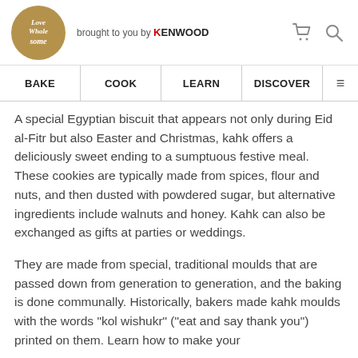[Figure (logo): Love Wholesome logo - brown circular badge with cursive white text 'Love Wholesome']
brought to you by KENWOOD
BAKE | COOK | LEARN | DISCOVER
A special Egyptian biscuit that appears not only during Eid al-Fitr but also Easter and Christmas, kahk offers a deliciously sweet ending to a sumptuous festive meal. These cookies are typically made from spices, flour and nuts, and then dusted with powdered sugar, but alternative ingredients include walnuts and honey. Kahk can also be exchanged as gifts at parties or weddings.
They are made from special, traditional moulds that are passed down from generation to generation, and the baking is done communally. Historically, bakers made kahk moulds with the words "kol wishukr" ("eat and say thank you") printed on them. Learn how to make your